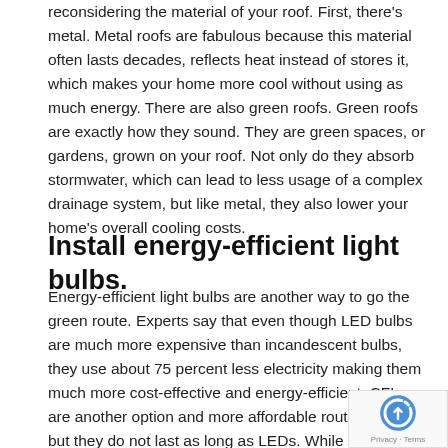reconsidering the material of your roof. First, there's metal. Metal roofs are fabulous because this material often lasts decades, reflects heat instead of stores it, which makes your home more cool without using as much energy. There are also green roofs. Green roofs are exactly how they sound. They are green spaces, or gardens, grown on your roof. Not only do they absorb stormwater, which can lead to less usage of a complex drainage system, but like metal, they also lower your home's overall cooling costs.
Install energy-efficient light bulbs.
Energy-efficient light bulbs are another way to go the green route. Experts say that even though LED bulbs are much more expensive than incandescent bulbs, they use about 75 percent less electricity making them much more cost-effective and energy-efficient. CFLs are another option and more affordable route to take, but they do not last as long as LEDs. While energy-efficient light bulbs